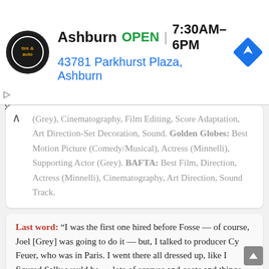[Figure (infographic): Ad banner for Ashburn tire and auto shop. Shows circular logo, business name 'Ashburn', OPEN label in green, hours '7:30AM–6PM', address '43781 Parkhurst Plaza, Ashburn', and a blue navigation diamond icon. Has small play/close controls on left.]
(Grey), Cinematography, Film Editing, Score Adaptation, Art Direction-Set Decoration, Sound. Golden Globes: Best Motion Picture (Comedy/Musical), Actress (Minnelli), Supporting Actor (Grey). BAFTA: Best Film, Direction, Actress (Minnelli), Cinematography, Art Direction, Sound Track.
Last word: “I was the first one hired before Fosse — of course, Joel [Grey] was going to do it — but, I talked to producer Cy Feuer, who was in Paris. I went there all dressed up, like I figured Sally would be — lots of scarves and coats and things [laughs] — and he said, ‘We’re doing the movie, we were just talking about you.’ I said, ‘Great, are you